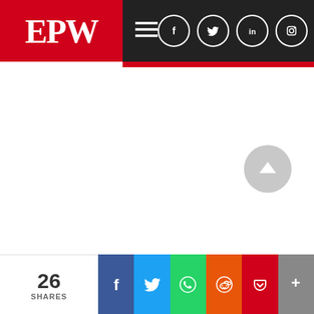[Figure (screenshot): EPW (Economic & Political Weekly) website header navigation bar with red EPW logo on left, hamburger menu icon, and social media icons (Facebook, Twitter, LinkedIn, Instagram, Search) on the right against dark background]
[Figure (screenshot): White content area below the navigation bar]
[Figure (screenshot): Grey circular scroll-to-top button with upward arrow]
[Figure (screenshot): Social sharing bottom bar showing 26 SHARES count and share buttons for Facebook, Twitter, WhatsApp, Reddit, Pocket, and More]